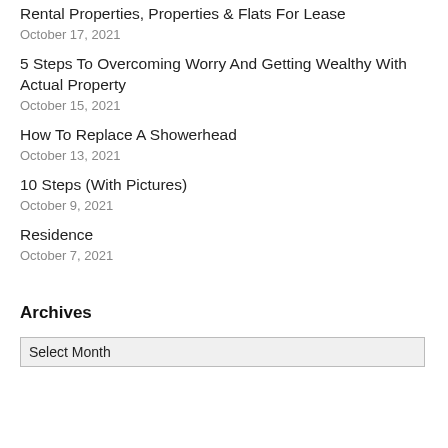Rental Properties, Properties & Flats For Lease
October 17, 2021
5 Steps To Overcoming Worry And Getting Wealthy With Actual Property
October 15, 2021
How To Replace A Showerhead
October 13, 2021
10 Steps (With Pictures)
October 9, 2021
Residence
October 7, 2021
Archives
Select Month